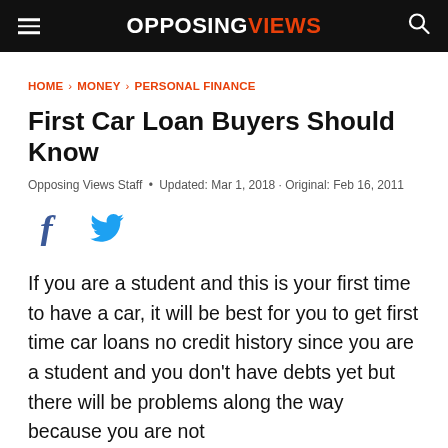OPPOSING VIEWS
HOME › MONEY › PERSONAL FINANCE
First Car Loan Buyers Should Know
Opposing Views Staff • Updated: Mar 1, 2018 · Original: Feb 16, 2011
[Figure (illustration): Facebook and Twitter social sharing icons]
If you are a student and this is your first time to have a car, it will be best for you to get first time car loans no credit history since you are a student and you don't have debts yet but there will be problems along the way because you are not